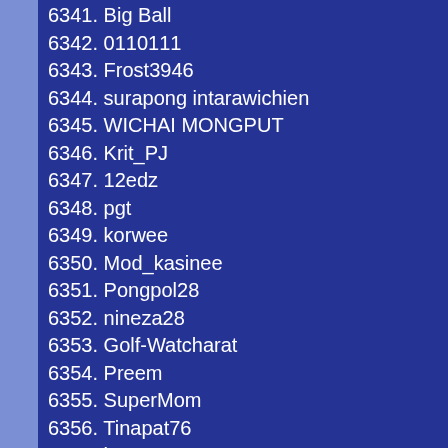6341. Big Ball
6342. 0110111
6343. Frost3946
6344. surapong intarawichien
6345. WICHAI MONGPUT
6346. Krit_PJ
6347. 12edz
6348. pgt
6349. korwee
6350. Mod_kasinee
6351. Pongpol28
6352. nineza28
6353. Golf-Watcharat
6354. Preem
6355. SuperMom
6356. Tinapat76
6357. boymanow411
6358. Pornchai.fff
6359. Porsche2010
6360. Yapenka
6361. ...